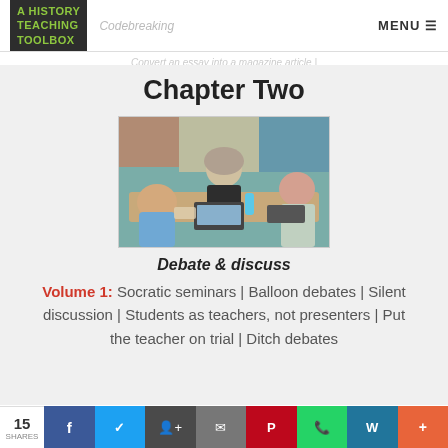A HISTORY TEACHING TOOLBOX | Codebreaking | MENU
Chapter Two
[Figure (photo): Photograph of students and a teacher engaged in discussion around a table in a classroom, with displays on the wall behind them.]
Debate & discuss
Volume 1: Socratic seminars | Balloon debates | Silent discussion | Students as teachers, not presenters | Put the teacher on trial | Ditch debates
15 SHARES | Facebook | Twitter | Google+ | Email | Pinterest | WhatsApp | WordPress | More